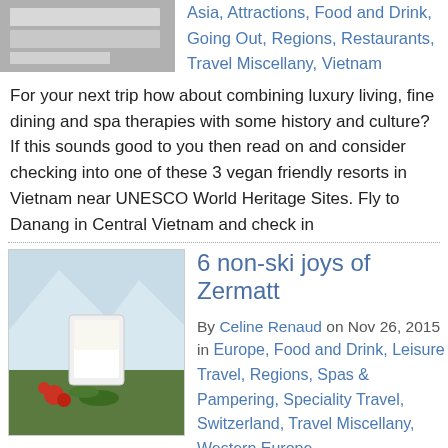[Figure (photo): Top image showing books or documents on a surface]
Asia, Attractions, Food and Drink, Going Out, Regions, Restaurants, Travel Miscellany, Vietnam
For your next trip how about combining luxury living, fine dining and spa therapies with some history and culture? If this sounds good to you then read on and consider checking into one of these 3 vegan friendly resorts in Vietnam near UNESCO World Heritage Sites. Fly to Danang in Central Vietnam and check in
[Figure (photo): A glass of milk in a snowy mountain setting with Christmas decorations, Zermatt]
6 non-ski joys of Zermatt
By Celine Renaud on Nov 26, 2015 in Europe, Food and Drink, Leisure Travel, Regions, Spas & Pampering, Speciality Travel, Switzerland, Travel Miscellany, Western Europe
Zermatt is pretty much about skiing. Lying at the foot of the iconic Matterhorn, in the middle of a vast ski region, the resort offers snow sport activities for all